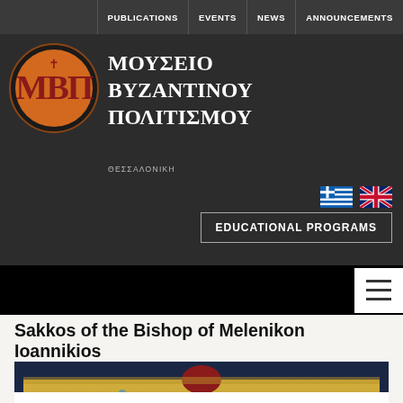PUBLICATIONS | EVENTS | NEWS | ANNOUNCEMENTS
[Figure (logo): Museum of Byzantine Culture logo - circular orange emblem with Byzantine monogram MBP, with Greek text ΜΟΥΣΕΙΟ ΒΥΖΑΝΤΙΝΟΥ ΠΟΛΙΤΙΣΜΟΥ and subtitle ΘΕΣΣΑΛΟΝΙΚΗ]
[Figure (illustration): Greek flag and UK flag icons for language selection]
EDUCATIONAL PROGRAMS
[Figure (screenshot): Hamburger menu icon (three horizontal lines) on white background]
Sakkos of the Bishop of Melenikon Ioannikios
[Figure (photo): A liturgical sakkos (vestment) displayed against dark blue background, showing ornate golden embroidered textile with floral patterns and a red center piece]